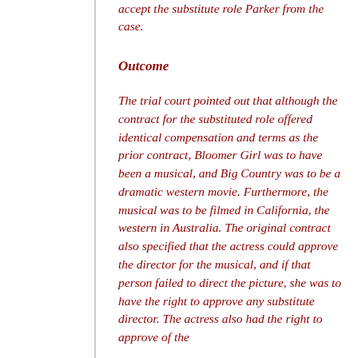accept the substitute role Parker from the case.
Outcome
The trial court pointed out that although the contract for the substituted role offered identical compensation and terms as the prior contract, Bloomer Girl was to have been a musical, and Big Country was to be a dramatic western movie. Furthermore, the musical was to be filmed in California, the western in Australia. The original contract also specified that the actress could approve the director for the musical, and if that person failed to direct the picture, she was to have the right to approve any substitute director. The actress also had the right to approve of the